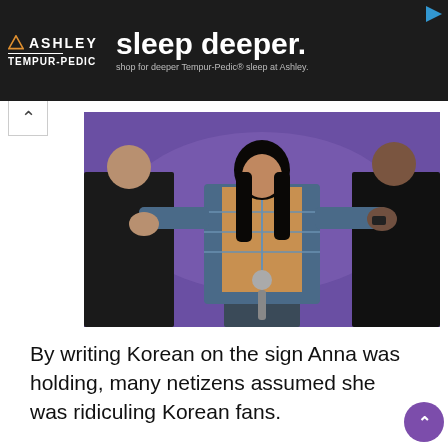[Figure (screenshot): Ashley Tempur-Pedic advertisement banner on dark background. Left side shows Ashley logo with triangle icon and 'TEMPUR-PEDIC' text below. Center shows large text 'sleep deeper.' with smaller text 'shop for deeper Tempur-Pedic® sleep at Ashley.' Top right has an ad corner icon.]
[Figure (photo): A performer on stage against a purple background, wearing a plaid open shirt over a graphic tee and jeans, holding a microphone, with two people in dark suits bowing on either side.]
By writing Korean on the sign Anna was holding, many netizens assumed she was ridiculing Korean fans.
[Figure (photo): A performer on a dark stage, partially visible, with another person visible on the left side of the image.]